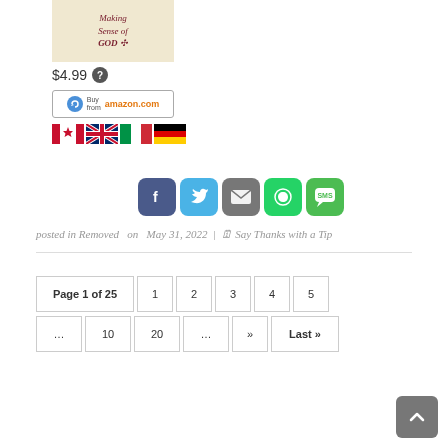[Figure (illustration): Book cover for 'Making Sense of GOD' with decorative icon, on a beige/cream background]
$4.99 ?
[Figure (logo): Buy from amazon.com button with circular arrow logo]
[Figure (illustration): Four country flag icons: Canada, UK, Italy, Germany]
[Figure (infographic): Social share buttons: Facebook (f), Twitter (bird), Email (envelope), WhatsApp (phone), SMS (chat bubble)]
posted in Removed   on  May 31, 2022  |  Say Thanks with a Tip
[Figure (infographic): Pagination controls: Page 1 of 25, 1, 2, 3, 4, 5, ..., 10, 20, ..., », Last »]